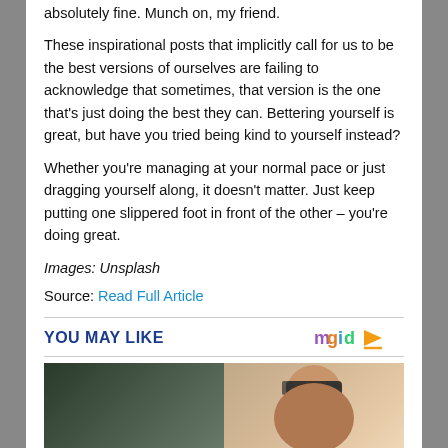absolutely fine. Munch on, my friend.
These inspirational posts that implicitly call for us to be the best versions of ourselves are failing to acknowledge that sometimes, that version is the one that’s just doing the best they can. Bettering yourself is great, but have you tried being kind to yourself instead?
Whether you’re managing at your normal pace or just dragging yourself along, it doesn’t matter. Just keep putting one slippered foot in front of the other – you’re doing great.
Images: Unsplash
Source: Read Full Article
YOU MAY LIKE
[Figure (photo): Photo of a woman wearing sunglasses, smiling, partially visible on right side of image]